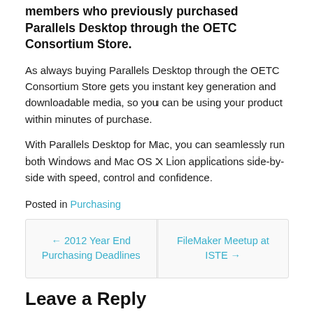members who previously purchased Parallels Desktop through the OETC Consortium Store.
As always buying Parallels Desktop through the OETC Consortium Store gets you instant key generation and downloadable media, so you can be using your product within minutes of purchase.
With Parallels Desktop for Mac, you can seamlessly run both Windows and Mac OS X Lion applications side-by-side with speed, control and confidence.
Posted in Purchasing
← 2012 Year End Purchasing Deadlines | FileMaker Meetup at ISTE →
Leave a Reply
Your email address will not be published. Required fields